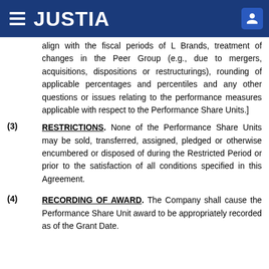JUSTIA
align with the fiscal periods of L Brands, treatment of changes in the Peer Group (e.g., due to mergers, acquisitions, dispositions or restructurings), rounding of applicable percentages and percentiles and any other questions or issues relating to the performance measures applicable with respect to the Performance Share Units.]
(3) RESTRICTIONS. None of the Performance Share Units may be sold, transferred, assigned, pledged or otherwise encumbered or disposed of during the Restricted Period or prior to the satisfaction of all conditions specified in this Agreement.
(4) RECORDING OF AWARD. The Company shall cause the Performance Share Unit award to be appropriately recorded as of the Grant Date.